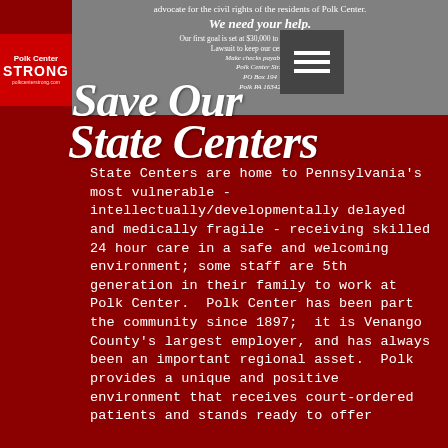[Figure (screenshot): Top banner area with gray background showing fundraising text for Polk Center Strong civil rights lawsuit, 'We need your help.' in italic, address details PO Box 194 Polk PA 16342, and a hamburger menu icon overlay]
Save Our State Centers
State Centers are home to Pennsylvania's most vulnerable - intellectually/developmentally delayed and medically fragile - receiving skilled 24 hour care in a safe and welcoming environment; some staff are 5th generation in their family to work at Polk Center. Polk Center has been part the community since 1897; it is Venango County's largest employer, and has always been an important regional asset. Polk provides a unique and positive environment that receives court-ordered patients and stands ready to offer